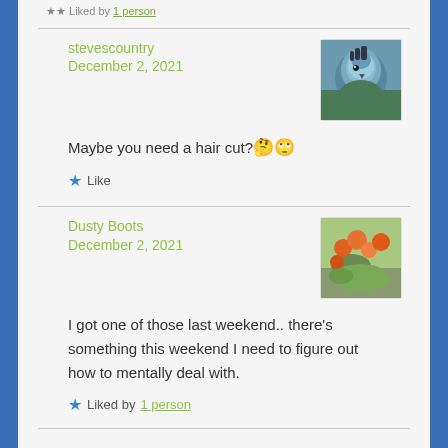Liked by 1 person
stevescountry
December 2, 2021
[Figure (photo): Blue jay bird close-up avatar image]
Maybe you need a hair cut? 🤔🙄
★ Like
Dusty Boots
December 2, 2021
[Figure (photo): Orange flowers and green foliage garden photo avatar]
I got one of those last weekend.. there's something this weekend I need to figure out how to mentally deal with.
★ Liked by 1 person